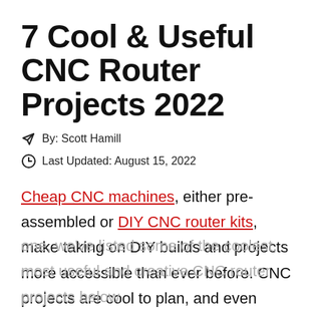7 Cool & Useful CNC Router Projects 2022
By: Scott Hamill
Last Updated: August 15, 2022
Cheap CNC machines, either pre-assembled or DIY CNC router kits, make taking on DIY builds and projects more accessible than ever before. CNC projects are cool to plan, and even cooler to make yourself. If you own a CNC router, or are just looking for cool ideas for when you get one, we've listed some of the coolest, most useful and creative CNC router projects below